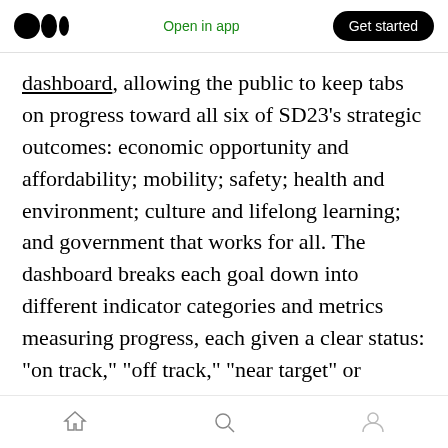Medium logo | Open in app | Get started
dashboard, allowing the public to keep tabs on progress toward all six of SD23's strategic outcomes: economic opportunity and affordability; mobility; safety; health and environment; culture and lifelong learning; and government that works for all. The dashboard breaks each goal down into different indicator categories and metrics measuring progress, each given a clear status: “on track,” “off track,” “near target” or “measuring.” The City, in other words, is holding itself publicly accountable for SD23’s goals. (The dashboard is just one component of
Home | Search | Profile